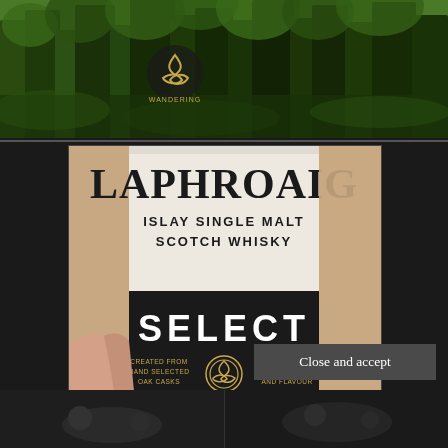[Figure (photo): Forest scene with green trees and a Celtic triquetra logo with text 'WANDERING' at top left]
[Figure (photo): Close-up photo of Laphroaig Select Islay Single Malt Scotch Whisky bottle being held, showing the label with 'CREATED FROM HAND SELECTED OAK CASKS' and 'FOR PERFECT BALANCE AND FLAVOUR' text, with a Celtic knot emblem]
Privacy & Cookies: This site uses cookies. By continuing to use this website, you agree to their use.
To find out more, including how to control cookies, see here: Cookie Policy
Close and accept
[Figure (photo): Two dark thumbnails at the bottom of the page, partially visible]